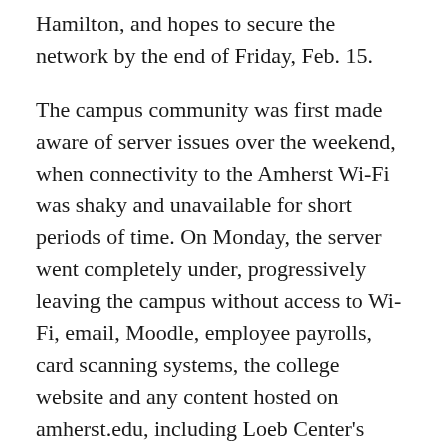Hamilton, and hopes to secure the network by the end of Friday, Feb. 15.
The campus community was first made aware of server issues over the weekend, when connectivity to the Amherst Wi-Fi was shaky and unavailable for short periods of time. On Monday, the server went completely under, progressively leaving the campus without access to Wi-Fi, email, Moodle, employee payrolls, card scanning systems, the college website and any content hosted on amherst.edu, including Loeb Center's Handshake platform for career planning. The campus was left without the server or an explanation for the outage; the college released an official report on the server outage on Tuesday, nearly 24 hours after the server first went down.